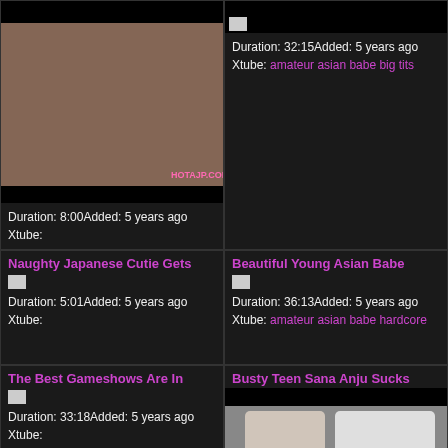[Figure (photo): Thumbnail image of two people on bed with HOTAJP.COM watermark]
Duration: 8:00Added: 5 years ago
Xtube:
Duration: 32:15Added: 5 years ago
Xtube: amateur asian babe big tits
Naughty Japanese Cutie Gets
Duration: 5:01Added: 5 years ago
Xtube:
Beautiful Young Asian Babe
Duration: 36:13Added: 5 years ago
Xtube: amateur asian babe hardcore
The Best Gameshows Are In
Duration: 33:18Added: 5 years ago
Xtube:
Busty Teen Sana Anju Sucks
[Figure (photo): Thumbnail of young woman in white clothing]